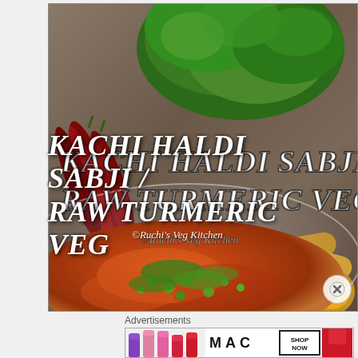[Figure (photo): Food photography showing Kachi Haldi Sabji (Raw Turmeric Vegetable dish). A bowl of orange-red curry with green peas and fresh herbs on top, surrounded by raw turmeric roots, dried red chilies, and fresh green herbs/coriander on a wooden board background.]
KACHI HALDI SABJI / RAW TURMERIC VEG
©Ruchi's Veg Kitchen
Advertisements
[Figure (photo): MAC Cosmetics advertisement banner showing colorful lipsticks (purple, pink shades) on the left side, MAC logo in the center, and a SHOP NOW box on the right with a red lipstick.]